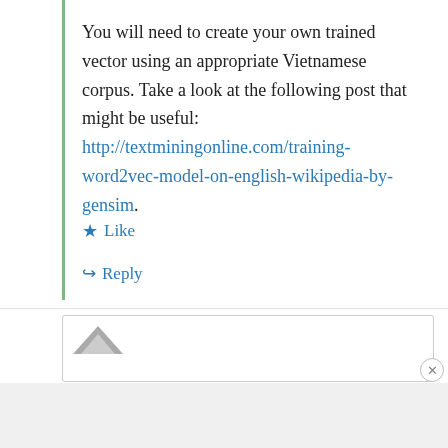You will need to create your own trained vector using an appropriate Vietnamese corpus. Take a look at the following post that might be useful: http://textminingonline.com/training-word2vec-model-on-english-wikipedia-by-gensim.
★ Like
↳ Reply
[Figure (screenshot): Comment input form box (partially visible)]
Advertisements
[Figure (infographic): DuckDuckGo advertisement banner: Search, browse, and email with more privacy. All in One Free App. Shows DuckDuckGo logo and phone.]